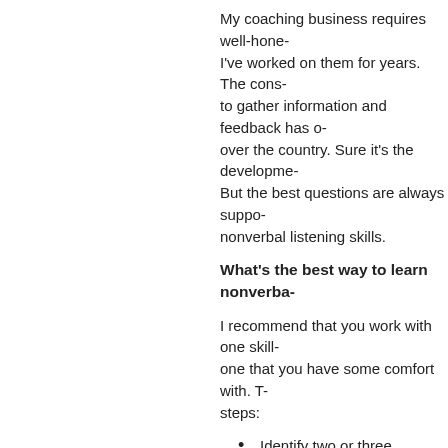My coaching business requires well-hone... I've worked on them for years. The cons... to gather information and feedback has o... over the country. Sure it's the developme... But the best questions are always suppo... nonverbal listening skills.
What's the best way to learn nonverba...
I recommend that you work with one skill... one that you have some comfort with. T... steps:
Identify two or three listeners tha... good at a nonverbal--say eye co...
Observe your "experts," noting h... eye contact--in several different...
Focus on mimicking what you've... conversations.
Prep someone to give you feedb... contact.
Take the feedback, adjust, mimi... adjust and mimic to more feedba...